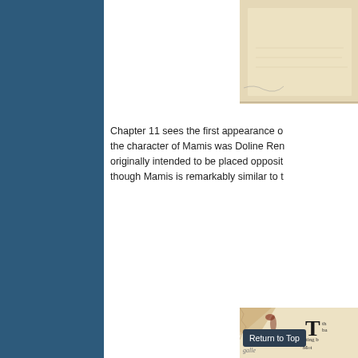[Figure (photo): Partial view of an aged, yellowed document page or manuscript, cropped at top right corner]
Chapter 11 sees the first appearance of the character of Mamis was Doline Ren originally intended to be placed opposit though Mamis is remarkably similar to t
[Figure (photo): Aged yellowed document or book page with torn corner, showing partial text including a large decorative drop cap 'T', and handwritten 'galle' annotation, with partial visible text: 'th', 'ba', 'sitting b', 'Mot']